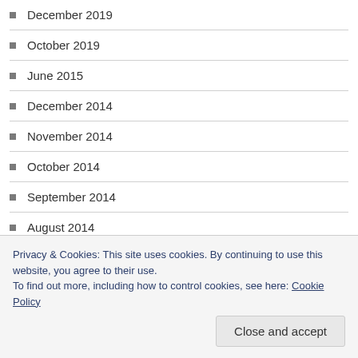December 2019
October 2019
June 2015
December 2014
November 2014
October 2014
September 2014
August 2014
July 2014
June 2014
May 2014
Privacy & Cookies: This site uses cookies. By continuing to use this website, you agree to their use. To find out more, including how to control cookies, see here: Cookie Policy